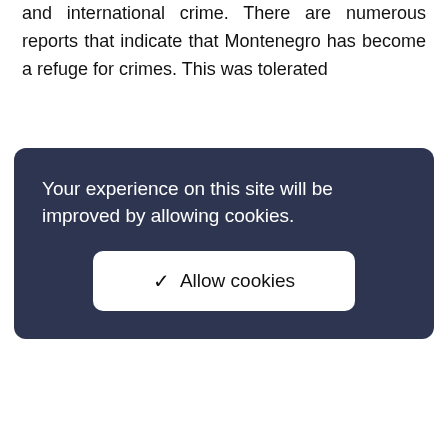and international crime. There are numerous reports that indicate that Montenegro has become a refuge for crimes. This was tolerated
[Figure (screenshot): Cookie consent overlay with dark background showing 'Your experience on this site will be improved by allowing cookies.' and an 'Allow cookies' button with checkmark.]
sanctions. In this period unbreakable bonds were established between political and criminal structures.
After the establishment of the new government, organized crime had started to slowly leave Montenegro and seek refuge in